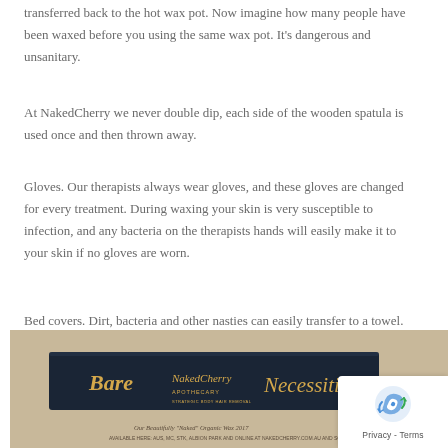transferred back to the hot wax pot. Now imagine how many people have been waxed before you using the same wax pot. It's dangerous and unsanitary.
At NakedCherry we never double dip, each side of the wooden spatula is used once and then thrown away.
Gloves. Our therapists always wear gloves, and these gloves are changed for every treatment. During waxing your skin is very susceptible to infection, and any bacteria on the therapists hands will easily make it to your skin if no gloves are worn.
Bed covers. Dirt, bacteria and other nasties can easily transfer to a towel. At NakedCherry we place a fresh paper towel over the entire bed before every treatment.
[Figure (photo): Photo of a dark sign reading 'Bare NakedCherry Apothecary Necessities' with script lettering on a dark background, placed on a wooden surface with papers beneath.]